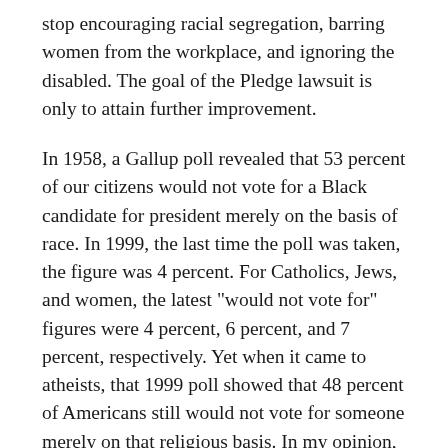stop encouraging racial segregation, barring women from the workplace, and ignoring the disabled. The goal of the Pledge lawsuit is only to attain further improvement.
In 1958, a Gallup poll revealed that 53 percent of our citizens would not vote for a Black candidate for president merely on the basis of race. In 1999, the last time the poll was taken, the figure was 4 percent. For Catholics, Jews, and women, the latest "would not vote for" figures were 4 percent, 6 percent, and 7 percent, respectively. Yet when it came to atheists, that 1999 poll showed that 48 percent of Americans still would not vote for someone merely on that religious basis. In my opinion, this sort of prejudice is in no small measure perpetuated when our government tells everyone with a coin in his or her pocket that our nation